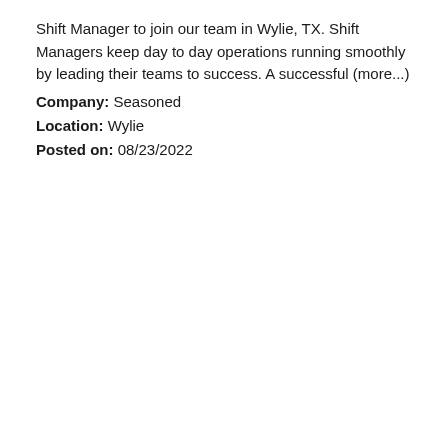Shift Manager to join our team in Wylie, TX. Shift Managers keep day to day operations running smoothly by leading their teams to success. A successful (more...)
Company: Seasoned
Location: Wylie
Posted on: 08/23/2022